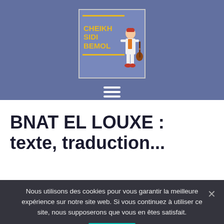[Figure (logo): Cheikh Sidi Bemol logo — cartoon musician in white suit holding guitar, with yellow text on blue/slate background reading CHEIKH SIDI BEMOL]
BNAT EL LOUXE : texte, traduction...
Nous utilisons des cookies pour vous garantir la meilleure expérience sur notre site web. Si vous continuez à utiliser ce site, nous supposerons que vous en êtes satisfait.